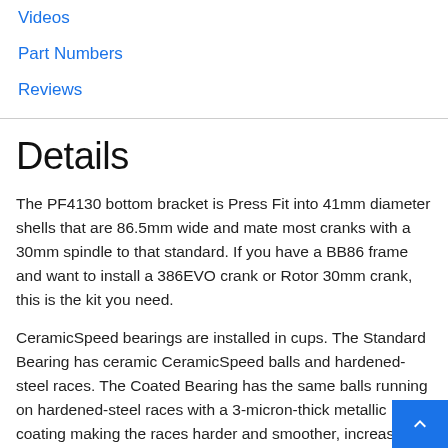Videos
Part Numbers
Reviews
Details
The PF4130 bottom bracket is Press Fit into 41mm diameter shells that are 86.5mm wide and mate most cranks with a 30mm spindle to that standard. If you have a BB86 frame and want to install a 386EVO crank or Rotor 30mm crank, this is the kit you need.
CeramicSpeed bearings are installed in cups. The Standard Bearing has ceramic CeramicSpeed balls and hardened-steel races. The Coated Bearing has the same balls running on hardened-steel races with a 3-micron-thick metallic coating making the races harder and smoother, increasing service life and reducing friction.